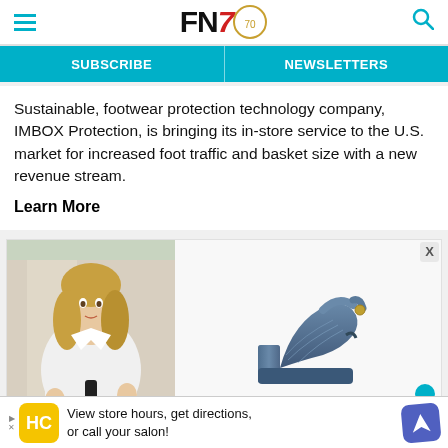FN7 — Footwear News header with hamburger menu and search icon
SUBSCRIBE | NEWSLETTERS
Sustainable, footwear protection technology company, IMBOX Protection, is bringing its in-store service to the U.S. market for increased foot traffic and basket size with a new revenue stream.
Learn More
[Figure (photo): A blonde woman in a white shirt next to an image of a blue platform heel shoe with ankle strap]
[Figure (infographic): Bottom advertisement: HC logo, text 'View store hours, get directions, or call your salon!' with a blue direction arrow icon]